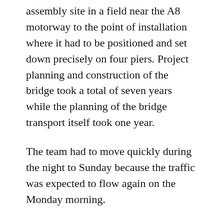assembly site in a field near the A8 motorway to the point of installation where it had to be positioned and set down precisely on four piers. Project planning and construction of the bridge took a total of seven years while the planning of the bridge transport itself took one year.
The team had to move quickly during the night to Sunday because the traffic was expected to flow again on the Monday morning.
“Basically nothing could be allowed to go wrong during transportation,” said Stefan Schmidbauer. “This is why we opted for SPMT axle lines from SCHEUERLE.”
A total of 56 axle lines were required in order to